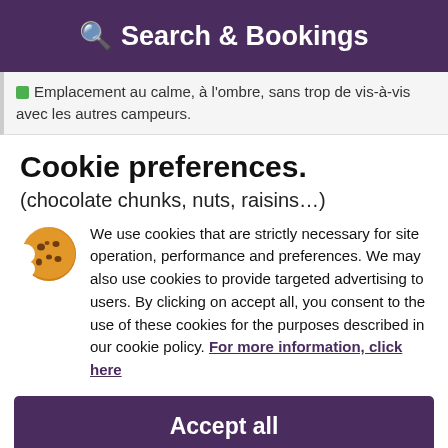Search & Bookings
Emplacement au calme, à l'ombre, sans trop de vis-à-vis avec les autres campeurs.
Cookie preferences.
(chocolate chunks, nuts, raisins...)
We use cookies that are strictly necessary for site operation, performance and preferences. We may also use cookies to provide targeted advertising to users. By clicking on accept all, you consent to the use of these cookies for the purposes described in our cookie policy. For more information, click here
Accept all